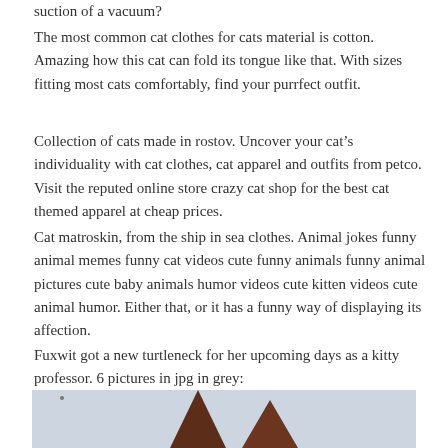suction of a vacuum?
The most common cat clothes for cats material is cotton. Amazing how this cat can fold its tongue like that. With sizes fitting most cats comfortably, find your purrfect outfit.
Collection of cats made in rostov. Uncover your cat’s individuality with cat clothes, cat apparel and outfits from petco. Visit the reputed online store crazy cat shop for the best cat themed apparel at cheap prices.
Cat matroskin, from the ship in sea clothes. Animal jokes funny animal memes funny cat videos cute funny animals funny animal pictures cute baby animals humor videos cute kitten videos cute animal humor. Either that, or it has a funny way of displaying its affection.
Fuxwit got a new turtleneck for her upcoming days as a kitty professor. 6 pictures in jpg in grey:
[Figure (photo): A cat with brown/dark ears visible from top, light blue/grey background, bottom portion of the page]